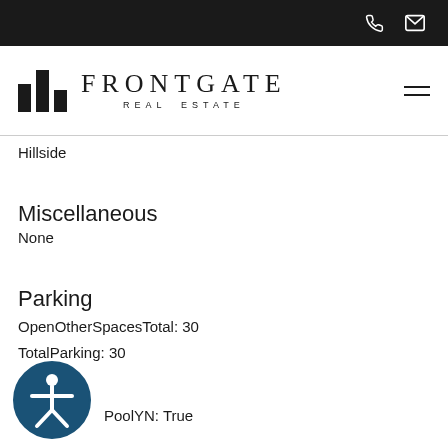Frontgate Real Estate
Hillside
Miscellaneous
None
Parking
OpenOtherSpacesTotal: 30
TotalParking: 30
PoolYN: True